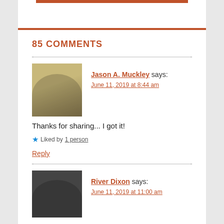85 COMMENTS
Jason A. Muckley says:
June 11, 2019 at 8:44 am
Thanks for sharing... I got it!
Liked by 1 person
Reply
River Dixon says:
June 11, 2019 at 11:00 am